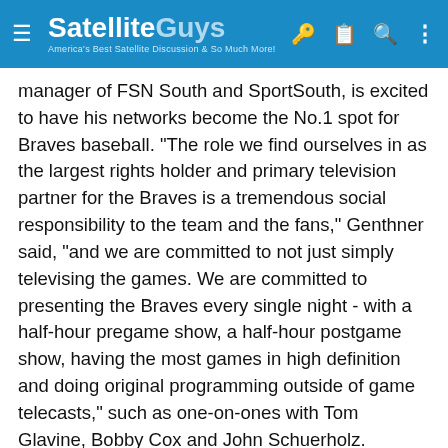SatelliteGuys — America's Best Satellite Discussion & So Much More!
manager of FSN South and SportSouth, is excited to have his networks become the No.1 spot for Braves baseball. "The role we find ourselves in as the largest rights holder and primary television partner for the Braves is a tremendous social responsibility to the team and the fans," Genthner said, "and we are committed to not just simply televising the games. We are committed to presenting the Braves every single night - with a half-hour pregame show, a half-hour postgame show, having the most games in high definition and doing original programming outside of game telecasts," such as one-on-ones with Tom Glavine, Bobby Cox and John Schuerholz. "As the flagship station, we have an inherent obligation to do so much more than just televising the games."
Broadcast team back: